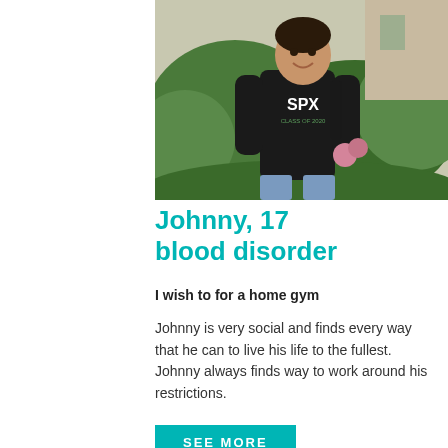[Figure (photo): Young man wearing a black SPX hoodie sweatshirt standing outdoors in front of green bushes and a brick building, smiling at the camera, wearing jeans.]
Johnny, 17
blood disorder
I wish to for a home gym
Johnny is very social and finds every way that he can to live his life to the fullest. Johnny always finds way to work around his restrictions.
SEE MORE